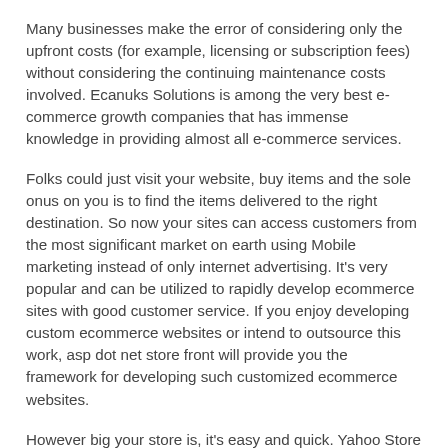Many businesses make the error of considering only the upfront costs (for example, licensing or subscription fees) without considering the continuing maintenance costs involved. Ecanuks Solutions is among the very best e-commerce growth companies that has immense knowledge in providing almost all e-commerce services.
Folks could just visit your website, buy items and the sole onus on you is to find the items delivered to the right destination. So now your sites can access customers from the most significant market on earth using Mobile marketing instead of only internet advertising. It's very popular and can be utilized to rapidly develop ecommerce sites with good customer service. If you enjoy developing custom ecommerce websites or intend to outsource this work, asp dot net store front will provide you the framework for developing such customized ecommerce websites.
However big your store is, it's easy and quick. Yahoo Store has capability to grow your web business rapidly and also have advantage to sell your goods in Yahoo Shopping. Should you need a totally customizable online shop,